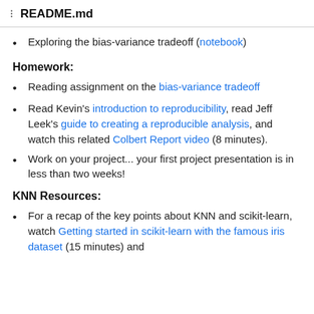README.md
Exploring the bias-variance tradeoff (notebook)
Homework:
Reading assignment on the bias-variance tradeoff
Read Kevin's introduction to reproducibility, read Jeff Leek's guide to creating a reproducible analysis, and watch this related Colbert Report video (8 minutes).
Work on your project... your first project presentation is in less than two weeks!
KNN Resources:
For a recap of the key points about KNN and scikit-learn, watch Getting started in scikit-learn with the famous iris dataset (15 minutes) and